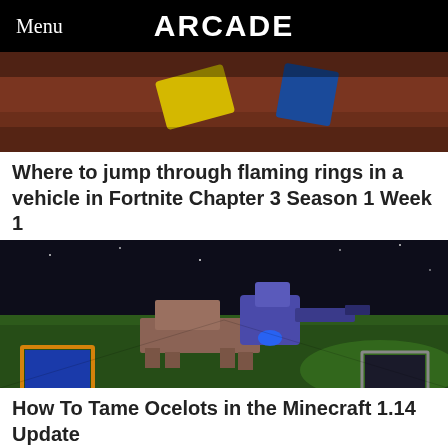Menu   ARCADE
[Figure (screenshot): Screenshot from Fortnite game showing colorful objects on a reddish-brown ground]
Where to jump through flaming rings in a vehicle in Fortnite Chapter 3 Season 1 Week 1
[Figure (screenshot): Screenshot from Minecraft showing a spider jockey or creature on a green ground with dark sky, with framed pictures on the ground]
How To Tame Ocelots in the Minecraft 1.14 Update